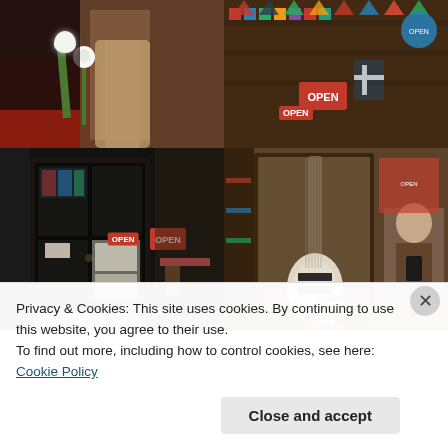[Figure (photo): Top-left: person holding a white rose on a stage with warm reddish-brown tones]
[Figure (photo): Top-right: interior of a shop with flags, bunting, and an OPEN sign]
[Figure (photo): Bottom-left: dark ornate door entrance with OPEN sign and stained glass, outdoor seating visible]
[Figure (photo): Bottom-right: interior with a guitar displayed in a mirror frame, person taking a selfie visible]
Privacy & Cookies: This site uses cookies. By continuing to use this website, you agree to their use.
To find out more, including how to control cookies, see here: Cookie Policy
Close and accept